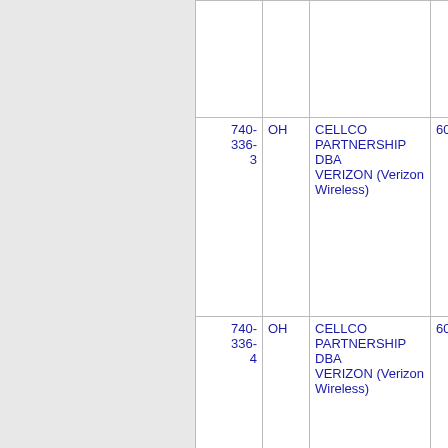| Number | State | Company | Code |
| --- | --- | --- | --- |
|  |  |  |  |
| 740-336-3 | OH | CELLCO PARTNERSHIP DBA VERIZON (Verizon Wireless) | 6025 |
| 740-336-4 | OH | CELLCO PARTNERSHIP DBA VERIZON (Verizon Wireless) | 6025 |